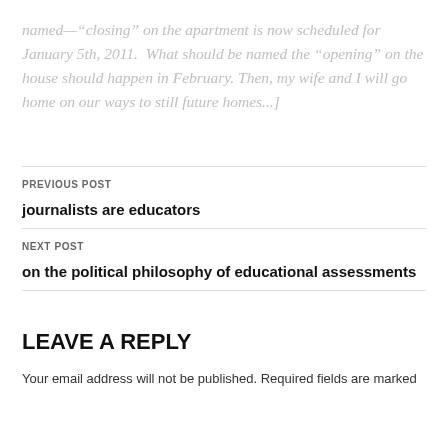named—"closing" on the apartment is now scheduled for January 5th, 2011. What should be named the "opening" on the house should happen in February. Then, my wife and I will go home on our ways to still future homes...]
PREVIOUS POST
journalists are educators
NEXT POST
on the political philosophy of educational assessments
LEAVE A REPLY
Your email address will not be published. Required fields are marked